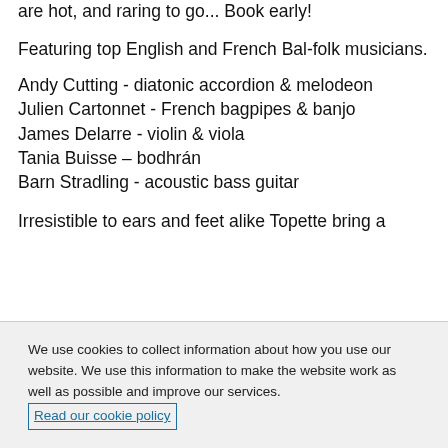are hot, and raring to go... Book early!
Featuring top English and French Bal-folk musicians.
Andy Cutting - diatonic accordion & melodeon
Julien Cartonnet - French bagpipes & banjo
James Delarre - violin & viola
Tania Buisse – bodhrán
Barn Stradling - acoustic bass guitar
Irresistible to ears and feet alike Topette bring a
We use cookies to collect information about how you use our website. We use this information to make the website work as well as possible and improve our services. Read our cookie policy